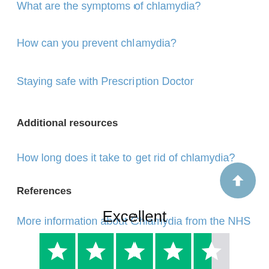What are the symptoms of chlamydia?
How can you prevent chlamydia?
Staying safe with Prescription Doctor
Additional resources
How long does it take to get rid of chlamydia?
References
More information about Chlamydia from the NHS
Excellent
[Figure (other): Trustpilot 5-star rating widget showing green star boxes with white stars, approximately 4.5 stars]